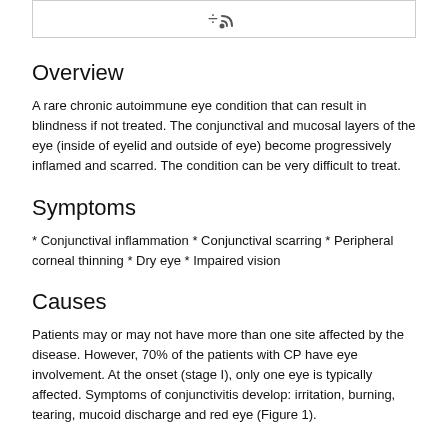RSS icon / feed indicator
Overview
A rare chronic autoimmune eye condition that can result in blindness if not treated. The conjunctival and mucosal layers of the eye (inside of eyelid and outside of eye) become progressively inflamed and scarred. The condition can be very difficult to treat.
Symptoms
* Conjunctival inflammation * Conjunctival scarring * Peripheral corneal thinning * Dry eye * Impaired vision
Causes
Patients may or may not have more than one site affected by the disease. However, 70% of the patients with CP have eye involvement. At the onset (stage I), only one eye is typically affected. Symptoms of conjunctivitis develop: irritation, burning, tearing, mucoid discharge and red eye (Figure 1).